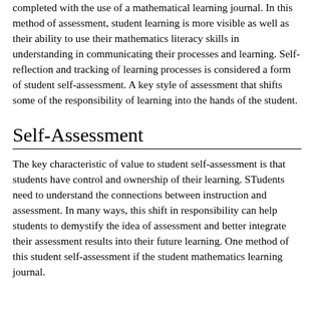completed with the use of a mathematical learning journal. In this method of assessment, student learning is more visible as well as their ability to use their mathematics literacy skills in understanding in communicating their processes and learning. Self-reflection and tracking of learning processes is considered a form of student self-assessment. A key style of assessment that shifts some of the responsibility of learning into the hands of the student.
Self-Assessment
The key characteristic of value to student self-assessment is that students have control and ownership of their learning. STudents need to understand the connections between instruction and assessment. In many ways, this shift in responsibility can help students to demystify the idea of assessment and better integrate their assessment results into their future learning. One method of this student self-assessment if the student mathematics learning journal.